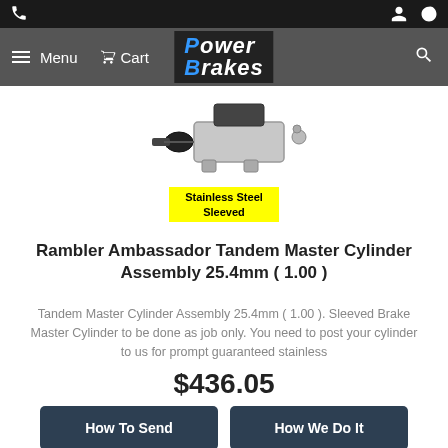Menu  Cart  Power Brakes
[Figure (photo): Photo of a stainless steel sleeved Tandem Master Cylinder Assembly with yellow badge reading 'Stainless Steel Sleeved']
Rambler Ambassador Tandem Master Cylinder Assembly 25.4mm ( 1.00 )
Tandem Master Cylinder Assembly 25.4mm ( 1.00 ). Sleeved Brake Master Cylinder to be done as job only. You need to post your cylinder to us for prompt guaranteed stainless
$436.05
How To Send  How We Do It